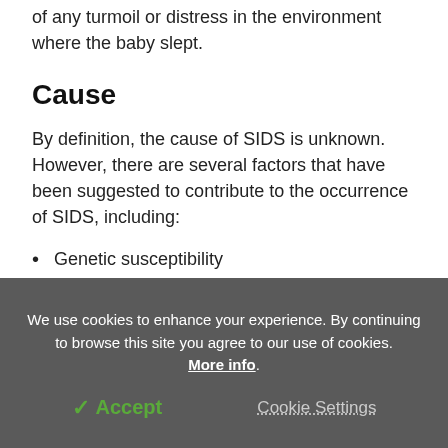of any turmoil or distress in the environment where the baby slept.
Cause
By definition, the cause of SIDS is unknown. However, there are several factors that have been suggested to contribute to the occurrence of SIDS, including:
Genetic susceptibility
Sleeping on the belly or on the side
We use cookies to enhance your experience. By continuing to browse this site you agree to our use of cookies. More info.
✓ Accept
Cookie Settings